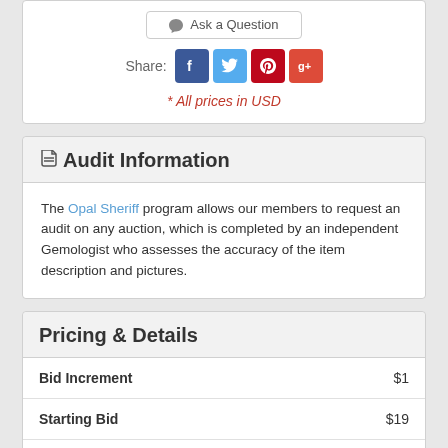Ask a Question
Share:
* All prices in USD
Audit Information
The Opal Sheriff program allows our members to request an audit on any auction, which is completed by an independent Gemologist who assesses the accuracy of the item description and pictures.
Pricing & Details
| Label | Value |
| --- | --- |
| Bid Increment | $1 |
| Starting Bid | $19 |
| Auction ID | 1195316 |
| Watchers | 2 watching |